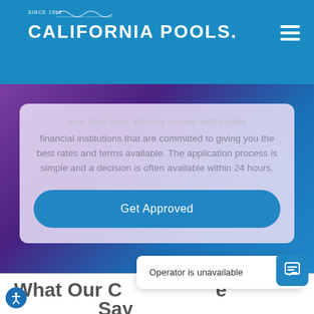CALIFORNIA POOLS. SINCE 1952
financial institutions that are committed to giving you the best rates and terms available. The application process is simple and a decision is often available within 24 hours.
Get Approved
What Our Customers Say
Operator is unavailable